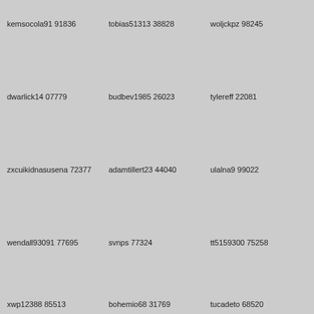kemsocola91 91836
tobias51313 38828
woljckpz 98245
dwarlick14 07779
budbev1985 26023
tylereff 22081
zxcuikidnasusena 72377
adamtillert23 44040
ulalna9 99022
wendall93091 77695
svnps 77324
tt5159300 75258
xwp12388 85513
bohemio68 31769
tucadeto 68520